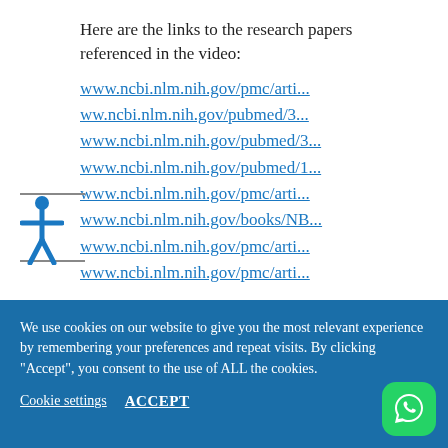Here are the links to the research papers referenced in the video:
www.ncbi.nlm.nih.gov/pmc/arti...
ww.ncbi.nlm.nih.gov/pubmed/3...
www.ncbi.nlm.nih.gov/pubmed/3...
www.ncbi.nlm.nih.gov/pubmed/1...
www.ncbi.nlm.nih.gov/pmc/arti...
www.ncbi.nlm.nih.gov/books/NB...
www.ncbi.nlm.nih.gov/pmc/arti...
www.ncbi.nlm.nih.gov/pmc/arti...
We use cookies on our website to give you the most relevant experience by remembering your preferences and repeat visits. By clicking “Accept”, you consent to the use of ALL the cookies.
Cookie settings   ACCEPT